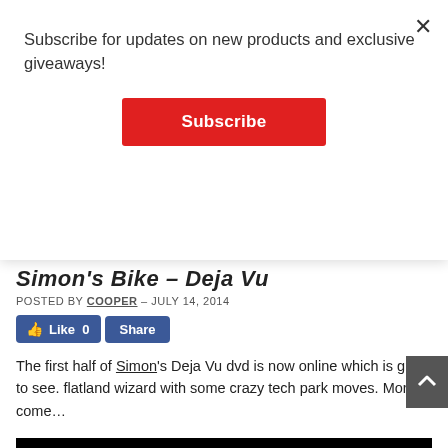Subscribe for updates on new products and exclusive giveaways!
[Figure (other): Red Subscribe button]
Simon's Bike – Deja Vu
POSTED BY COOPER - JULY 14, 2014
[Figure (other): Facebook Like and Share buttons]
The first half of Simon's Deja Vu dvd is now online which is great to see. flatland wizard with some crazy tech park moves. More to come…
[Figure (screenshot): Black video embed area]